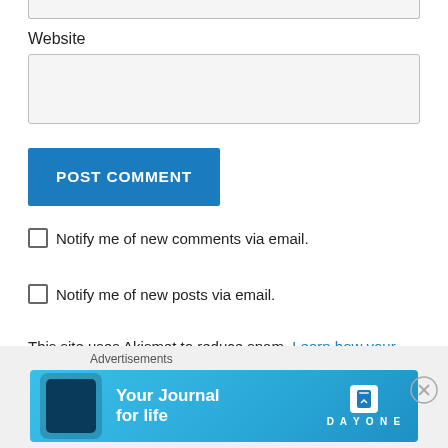Website
[Figure (screenshot): Website input text field (empty, light gray background)]
[Figure (screenshot): POST COMMENT button, blue background, white uppercase text]
Notify me of new comments via email.
Notify me of new posts via email.
This site uses Akismet to reduce spam. Learn how your comment data is processed.
[Figure (screenshot): Advertisement banner: 'Your Journal for life' with DayOne app branding on blue background]